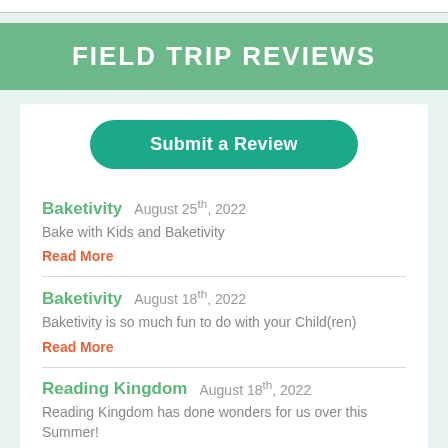FIELD TRIP REVIEWS
Submit a Review
Baketivity  August 25th, 2022
Bake with Kids and Baketivity
Read More
Baketivity  August 18th, 2022
Baketivity is so much fun to do with your Child(ren)
Read More
Reading Kingdom  August 18th, 2022
Reading Kingdom has done wonders for us over this Summer!